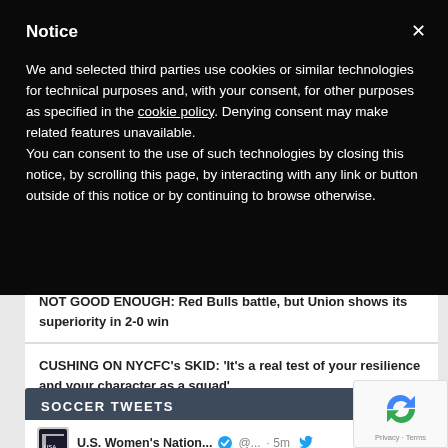Notice
We and selected third parties use cookies or similar technologies for technical purposes and, with your consent, for other purposes as specified in the cookie policy. Denying consent may make related features unavailable.
You can consent to the use of such technologies by closing this notice, by scrolling this page, by interacting with any link or button outside of this notice or by continuing to browse otherwise.
NOT GOOD ENOUGH: Red Bulls battle, but Union shows its superiority in 2-0 win
CUSHING ON NYCFC's SKID: 'It's a real test of your resilience and your character as a squad'
SOCCER TWEETS
U.S. Women's Nation... @... · 5m